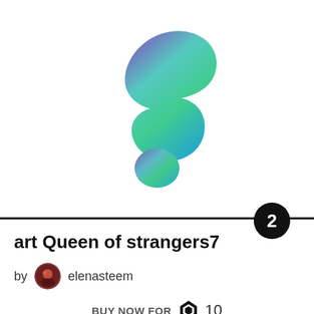[Figure (illustration): Abstract blob/amoeba shape with gradient from purple/violet at top-left to teal/green at top-right and cyan/blue at bottom, resembling a stylized letter S or figure on white background]
art Queen of strangers7
by elenasteem
BUY NOW FOR 10